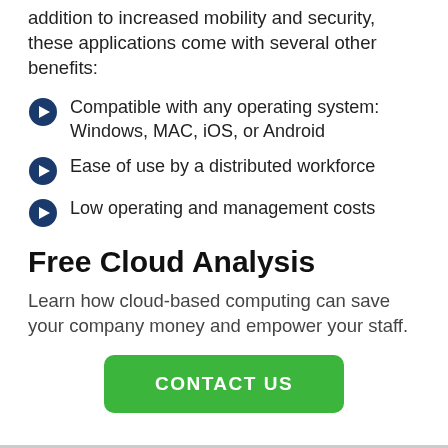addition to increased mobility and security, these applications come with several other benefits:
Compatible with any operating system: Windows, MAC, iOS, or Android
Ease of use by a distributed workforce
Low operating and management costs
Free Cloud Analysis
Learn how cloud-based computing can save your company money and empower your staff.
CONTACT US